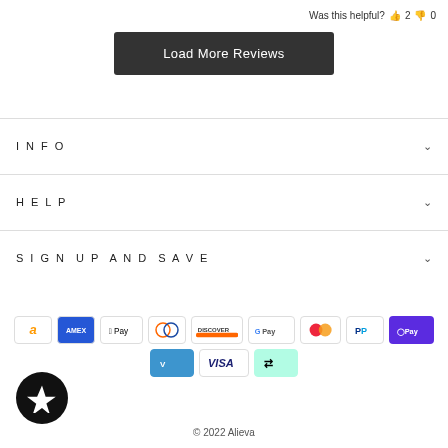Was this helpful? 👍 2 👎 0
Load More Reviews
INFO
HELP
SIGN UP AND SAVE
[Figure (other): Payment method icons: Amazon, AMEX, Apple Pay, Diners Club, Discover, Google Pay, Mastercard, PayPal, O Pay, Venmo, Visa, Afterpay]
[Figure (logo): Black circular badge with white star icon]
© 2022 Alieva